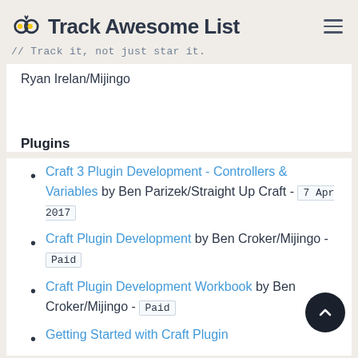Track Awesome List // Track it, not just star it.
Ryan Irelan/Mijingo
Plugins
Craft 3 Plugin Development - Controllers & Variables by Ben Parizek/Straight Up Craft - 7 Apr 2017
Craft Plugin Development by Ben Croker/Mijingo - Paid
Craft Plugin Development Workbook by Ben Croker/Mijingo - Paid
Getting Started with Craft Plugin